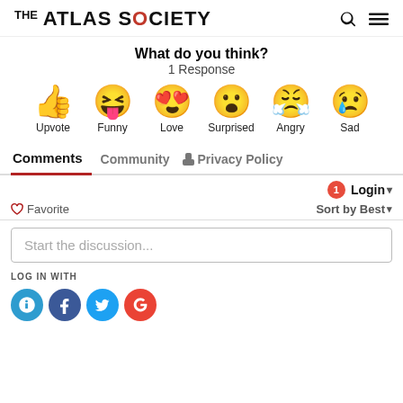THE ATLAS SOCIETY
What do you think?
1 Response
[Figure (infographic): Six reaction emoji with labels: Upvote (thumbs up), Funny (laughing face with tongue), Love (heart eyes), Surprised (surprised face), Angry (angry crying face), Sad (sad face with tear)]
Comments  Community  Privacy Policy
1 Login
Favorite  Sort by Best
Start the discussion...
LOG IN WITH